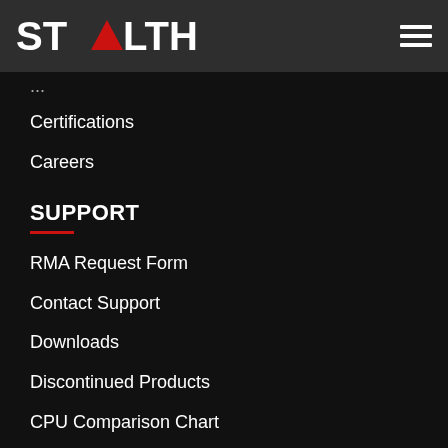STEALTH
Certifications
Careers
SUPPORT
RMA Request Form
Contact Support
Downloads
Discontinued Products
CPU Comparison Chart
Knowledge Base / FAQ
Warranty Policy
Terms & Conditions
Privacy Policy
NEWS
Newsletters